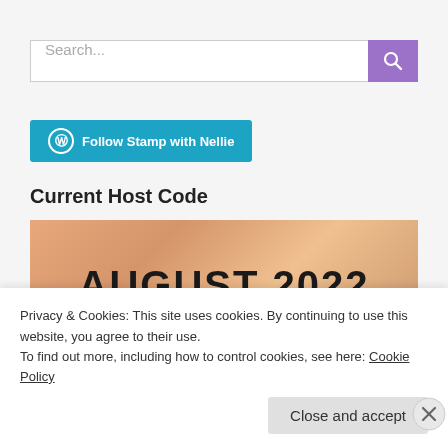[Figure (screenshot): Search input box with placeholder text 'Search...' and a purple search button with magnifying glass icon]
[Figure (screenshot): Teal/blue button with WordPress circle logo and text 'Follow Stamp with Nellie']
Current Host Code
[Figure (photo): Warm orange-peach blurred background image with bold black text 'AUGUST 2022' centered, with a small pink flower visible]
Privacy & Cookies: This site uses cookies. By continuing to use this website, you agree to their use.
To find out more, including how to control cookies, see here: Cookie Policy
[Figure (screenshot): Close and accept button (gray) and X close button on cookie notice]